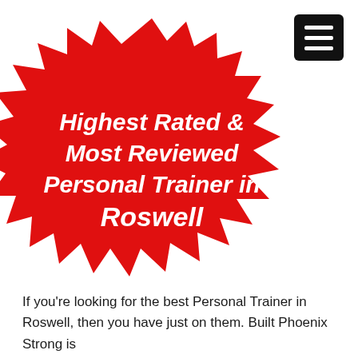[Figure (illustration): Red spiky badge/seal shape with white italic bold text reading 'Highest Rated & Most Reviewed Personal Trainer in Roswell']
If you're looking for the best Personal Trainer in Roswell, then you have just on them. Built Phoenix Strong is